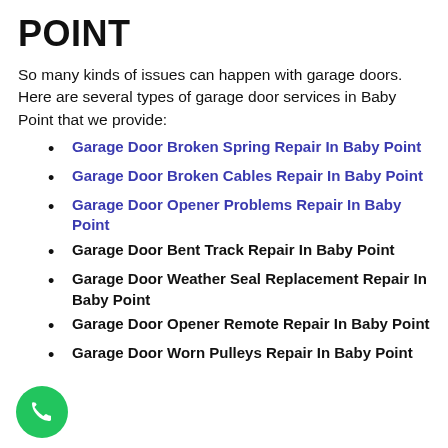POINT
So many kinds of issues can happen with garage doors. Here are several types of garage door services in Baby Point that we provide:
Garage Door Broken Spring Repair In Baby Point
Garage Door Broken Cables Repair In Baby Point
Garage Door Opener Problems Repair In Baby Point
Garage Door Bent Track Repair In Baby Point
Garage Door Weather Seal Replacement Repair In Baby Point
Garage Door Opener Remote Repair In Baby Point
Garage Door Worn Pulleys Repair In Baby Point